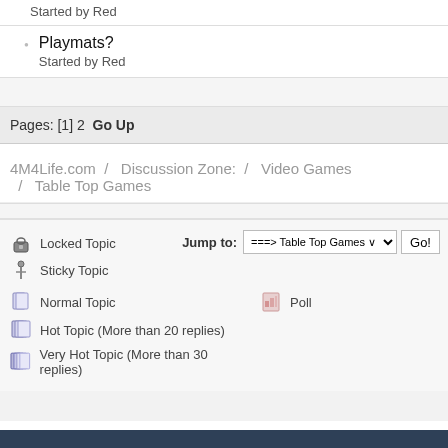Started by Red
Playmats?
Started by Red
Pages: [1] 2   Go Up
4M4Life.com  /  Discussion Zone:  /  Video Games  /  Table Top Games
Locked Topic
Sticky Topic
Normal Topic
Poll
Hot Topic (More than 20 replies)
Very Hot Topic (More than 30 replies)